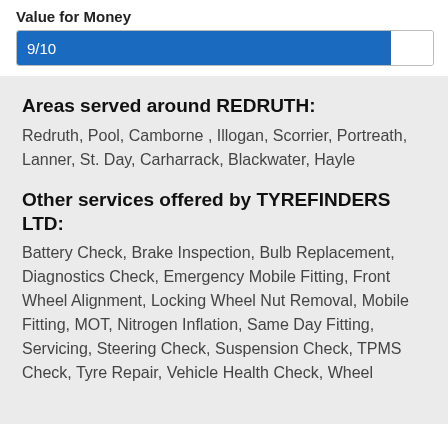Value for Money
[Figure (infographic): Rating bar showing 9/10 for Value for Money, filled blue bar covering 90% with white remainder]
Areas served around REDRUTH:
Redruth, Pool, Camborne , Illogan, Scorrier, Portreath, Lanner, St. Day, Carharrack, Blackwater, Hayle
Other services offered by TYREFINDERS LTD:
Battery Check, Brake Inspection, Bulb Replacement, Diagnostics Check, Emergency Mobile Fitting, Front Wheel Alignment, Locking Wheel Nut Removal, Mobile Fitting, MOT, Nitrogen Inflation, Same Day Fitting, Servicing, Steering Check, Suspension Check, TPMS Check, Tyre Repair, Vehicle Health Check, Wheel